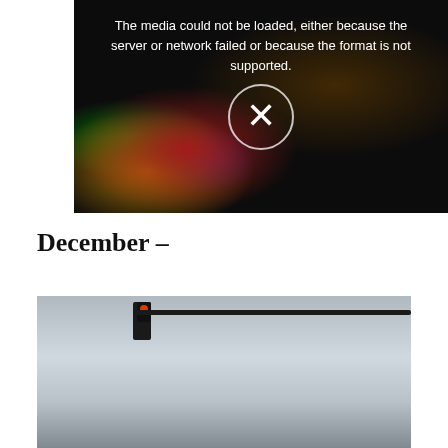[Figure (other): Video player with media load error message. Dark background with colorful blurred lights on left side. Error text reads: 'The media could not be loaded, either because the server or network failed or because the format is not supported.' with an X icon in a circle.]
December –
[Figure (photo): Photograph taken from inside a vehicle looking out through the windshield. Shows a traffic light mounted on a horizontal arm/bar against a grey overcast sky. The landscape below appears hazy or foggy.]